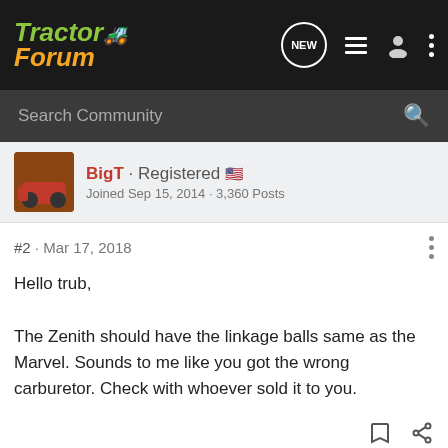TractorForum
Search Community
BigT · Registered
Joined Sep 15, 2014 · 3,360 Posts
#2 · Mar 17, 2018
Hello trub,

The Zenith should have the linkage balls same as the Marvel. Sounds to me like you got the wrong carburetor. Check with whoever sold it to you.
BigT · Registered
Joined Sep 15, 2014 · 3,360 Posts